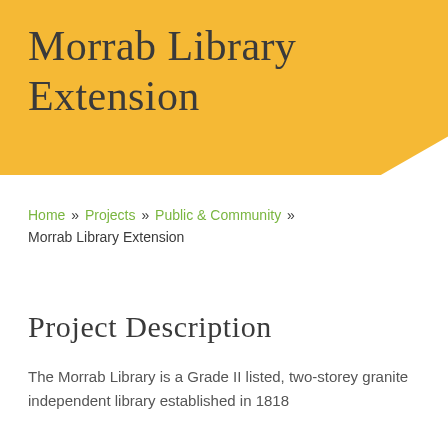Morrab Library Extension
Home » Projects » Public & Community » Morrab Library Extension
Project Description
The Morrab Library is a Grade II listed, two-storey granite independent library established in 1818